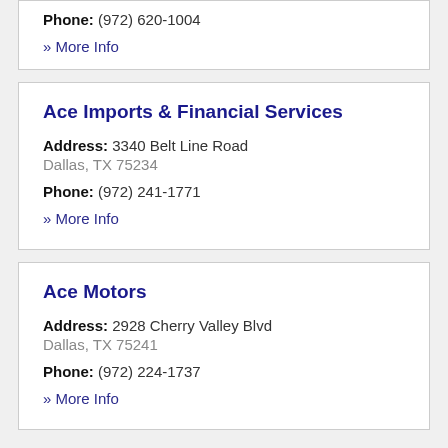Phone: (972) 620-1004
» More Info
Ace Imports & Financial Services
Address: 3340 Belt Line Road
Dallas, TX 75234
Phone: (972) 241-1771
» More Info
Ace Motors
Address: 2928 Cherry Valley Blvd
Dallas, TX 75241
Phone: (972) 224-1737
» More Info